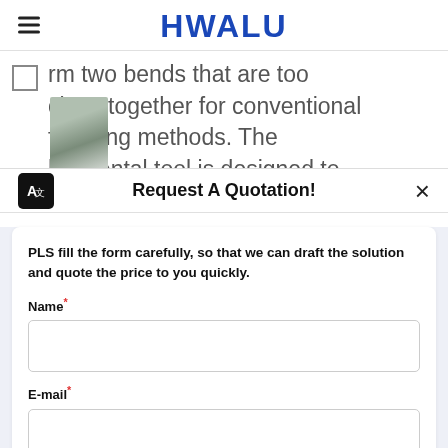HWALU
rm two bends that are too close together for conventional forming methods. The horizontal tool is designed to offset the materi al...
Request A Quotation!
PLS fill the form carefully, so that we can draft the solution and quote the price to you quickly.
Name*
E-mail*